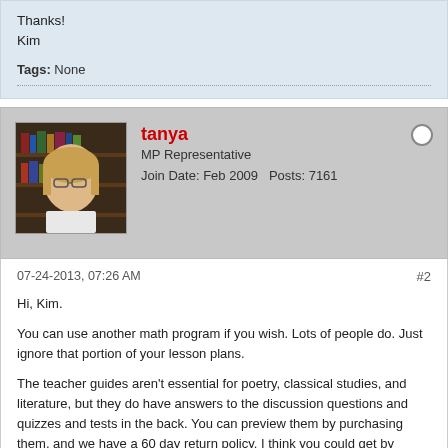Thanks!
Kim
Tags: None
tanya
MP Representative
Join Date: Feb 2009   Posts: 7161
07-24-2013, 07:26 AM
#2
Hi, Kim.

You can use another math program if you wish. Lots of people do. Just ignore that portion of your lesson plans.

The teacher guides aren't essential for poetry, classical studies, and literature, but they do have answers to the discussion questions and quizzes and tests in the back. You can preview them by purchasing them, and we have a 60 day return policy. I think you could get by easier without them for your 1st and 3rd grader, so maybe you would want to purchase a couple of them for your 5th grader and see what you think. The biggest advantage I have found with them (aside from the quizzes and tests written for me!) was that I didn't necessarily have to keep up with my older student. I could just look at his work alongside the teacher manual and know he was on the right